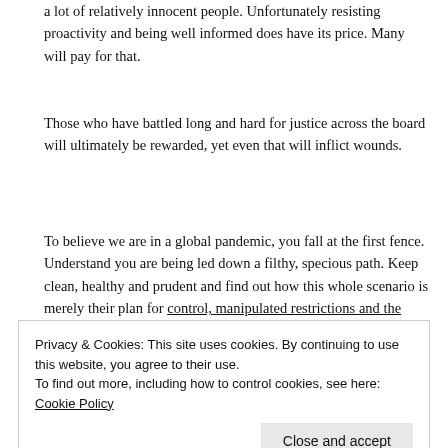a lot of relatively innocent people. Unfortunately resisting proactivity and being well informed does have its price. Many will pay for that.
Those who have battled long and hard for justice across the board will ultimately be rewarded, yet even that will inflict wounds.
To believe we are in a global pandemic, you fall at the first fence. Understand you are being led down a filthy, specious path. Keep clean, healthy and prudent and find out how this whole scenario is merely their plan for control, manipulated restrictions and the whole bundle of actions taking more freedoms and voice from us.
Precautionary measures include never trusting or believing any mainstream news outlets telling you to lap up "What we know about this issue. This page is a resource for questions people..."
Privacy & Cookies: This site uses cookies. By continuing to use this website, you agree to their use. To find out more, including how to control cookies, see here: Cookie Policy